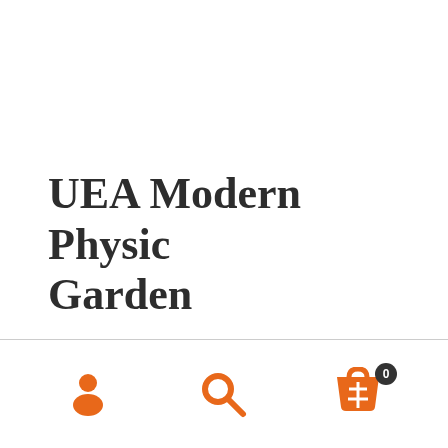UEA Modern Physic Garden
[Figure (illustration): Bottom navigation bar with three orange icons: user/person icon on left, search/magnifying glass icon in center, shopping basket icon with badge showing '0' on right]